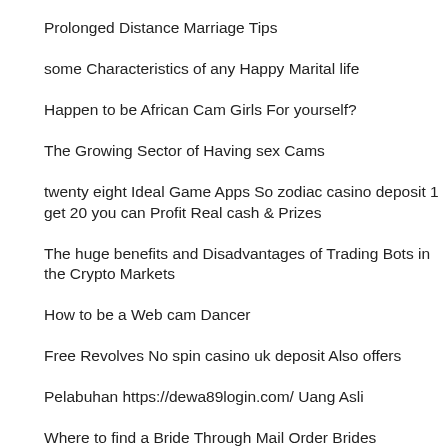Prolonged Distance Marriage Tips
some Characteristics of any Happy Marital life
Happen to be African Cam Girls For yourself?
The Growing Sector of Having sex Cams
twenty eight Ideal Game Apps So zodiac casino deposit 1 get 20 you can Profit Real cash & Prizes
The huge benefits and Disadvantages of Trading Bots in the Crypto Markets
How to be a Web cam Dancer
Free Revolves No spin casino uk deposit Also offers
Pelabuhan https://dewa89login.com/ Uang Asli
Where to find a Bride Through Mail Order Brides